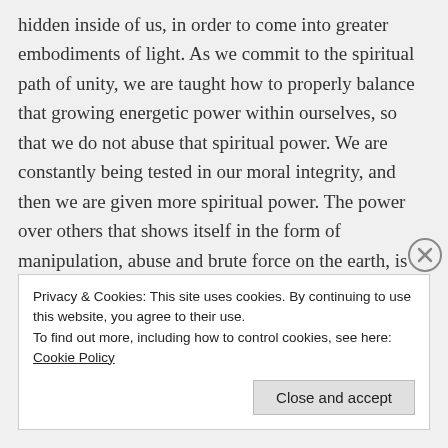hidden inside of us, in order to come into greater embodiments of light. As we commit to the spiritual path of unity, we are taught how to properly balance that growing energetic power within ourselves, so that we do not abuse that spiritual power. We are constantly being tested in our moral integrity, and then we are given more spiritual power. The power over others that shows itself in the form of manipulation, abuse and brute force on the earth, is not spiritual power. Once we go
Privacy & Cookies: This site uses cookies. By continuing to use this website, you agree to their use.
To find out more, including how to control cookies, see here: Cookie Policy